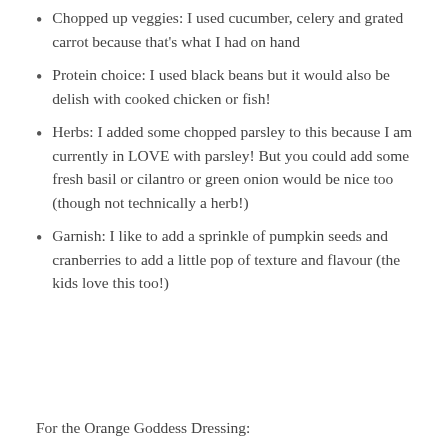Chopped up veggies: I used cucumber, celery and grated carrot because that's what I had on hand
Protein choice: I used black beans but it would also be delish with cooked chicken or fish!
Herbs: I added some chopped parsley to this because I am currently in LOVE with parsley! But you could add some fresh basil or cilantro or green onion would be nice too (though not technically a herb!)
Garnish: I like to add a sprinkle of pumpkin seeds and cranberries to add a little pop of texture and flavour (the kids love this too!)
For the Orange Goddess Dressing: